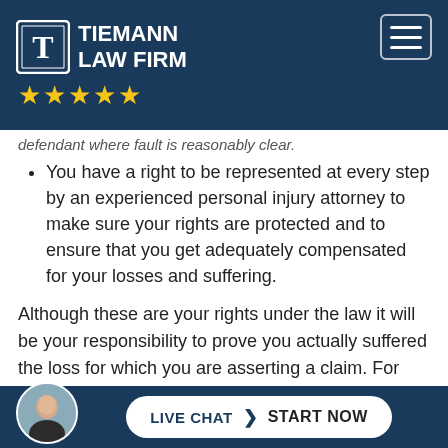[Figure (logo): Tiemann Law Firm logo with shield/T icon, white text on dark blue background, five gold stars below]
defendant where fault is reasonably clear.
You have a right to be represented at every step by an experienced personal injury attorney to make sure your rights are protected and to ensure that you get adequately compensated for your losses and suffering.
Although these are your rights under the law it will be your responsibility to prove you actually suffered the loss for which you are asserting a claim. For example, if you are going to assert that you lost earnings, you...
[Figure (screenshot): Live chat bar at bottom with avatar photo, LIVE CHAT and START NOW button pill on dark blue background]